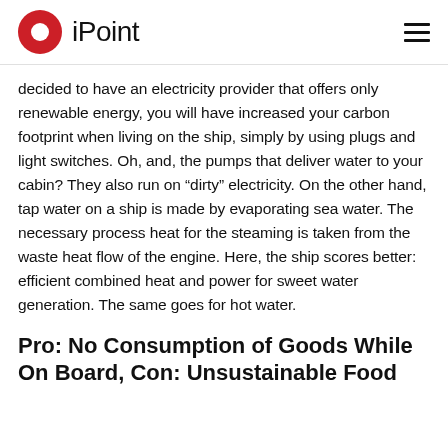iPoint
decided to have an electricity provider that offers only renewable energy, you will have increased your carbon footprint when living on the ship, simply by using plugs and light switches. Oh, and, the pumps that deliver water to your cabin? They also run on “dirty” electricity. On the other hand, tap water on a ship is made by evaporating sea water. The necessary process heat for the steaming is taken from the waste heat flow of the engine. Here, the ship scores better: efficient combined heat and power for sweet water generation. The same goes for hot water.
Pro: No Consumption of Goods While On Board, Con: Unsustainable Food